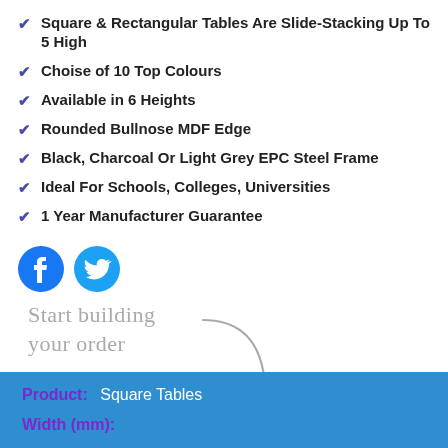Square & Rectangular Tables Are Slide-Stacking Up To 5 High
Choise of 10 Top Colours
Available in 6 Heights
Rounded Bullnose MDF Edge
Black, Charcoal Or Light Grey EPC Steel Frame
Ideal For Schools, Colleges, Universities
1 Year Manufacturer Guarantee
[Figure (logo): Facebook and Twitter social media icons]
[Figure (illustration): Handwritten text 'Start building your order' with a curved arrow pointing down]
| Product: | Square Tables |
| --- | --- |
| Width (mm): |  |